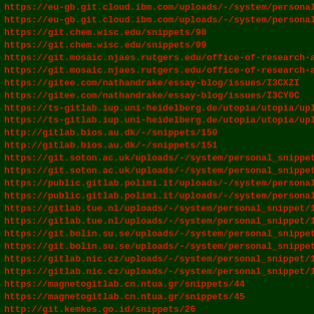https://eu-gb.git.cloud.ibm.com/uploads/-/system/personal_s
https://eu-gb.git.cloud.ibm.com/uploads/-/system/personal_s
https://git.chem.wisc.edu/snippets/98
https://git.chem.wisc.edu/snippets/99
https://git.mosaic.njaes.rutgers.edu/office-of-research-ana
https://git.mosaic.njaes.rutgers.edu/office-of-research-ana
https://gitee.com/nathandrake/essay-blog/issues/I3CXZI
https://gitee.com/nathandrake/essay-blog/issues/I3CY0C
https://ts-gitlab.iup.uni-heidelberg.de/utopia/utopia/uploa
https://ts-gitlab.iup.uni-heidelberg.de/utopia/utopia/uploa
http://gitlab.bios.au.dk/-/snippets/150
http://gitlab.bios.au.dk/-/snippets/151
https://git.soton.ac.uk/uploads/-/system/personal_snippet/2
https://git.soton.ac.uk/uploads/-/system/personal_snippet/2
https://public.gitlab.polimi.it/uploads/-/system/personal_s
https://public.gitlab.polimi.it/uploads/-/system/personal_s
https://gitlab.tue.nl/uploads/-/system/personal_snippet/108
https://gitlab.tue.nl/uploads/-/system/personal_snippet/108
https://git.bolin.su.se/uploads/-/system/personal_snippet/1
https://git.bolin.su.se/uploads/-/system/personal_snippet/1
https://gitlab.nic.cz/uploads/-/system/personal_snippet/139
https://gitlab.nic.cz/uploads/-/system/personal_snippet/139
https://magnetogitlab.cn.ntua.gr/snippets/44
https://magnetogitlab.cn.ntua.gr/snippets/45
http://git.kemkes.go.id/snippets/26
http://git.kemkes.go.id/snippets/27
http://gitlab.bioinf.uni-sb.de/snippets/43
http://gitlab.bioinf.uni-sb.de/snippets/44
https://git.cit.bcit.ca/snippets/1857